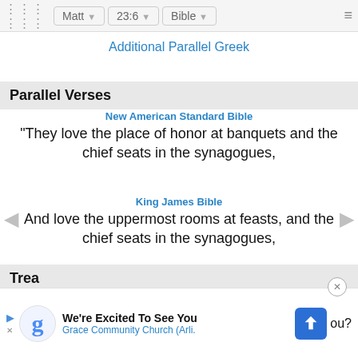Matt | 23:6 | Bible
Additional Parallel Greek
Parallel Verses
New American Standard Bible
"They love the place of honor at banquets and the chief seats in the synagogues,
King James Bible
And love the uppermost rooms at feasts, and the chief seats in the synagogues,
Holman Christian Standard Bible
They love the place of honor at banquets, the front seats in the synagogues,
Trea...
We're Excited To See You Grace Community Church (Arli.